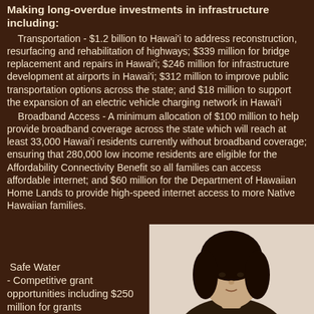Making long-overdue investments in infrastructure including:
Transportation - $1.2 billion to Hawai'i to address reconstruction, resurfacing and rehabilitation of highways; $339 million for bridge replacement and repairs in Hawai'i; $246 million for infrastructure development at airports in Hawai'i; $312 million to improve public transportation options across the state; and $18 million to support the expansion of an electric vehicle charging network in Hawai'i
Broadband Access - A minimum allocation of $100 million to help provide broadband coverage across the state which will reach at least 33,000 Hawai'i residents currently without broadband coverage; ensuring that 280,000 low income residents are eligible for the Affordability Connectivity Benefit so all families can access affordable internet; and $60 million for the Department of Hawaiian Home Lands to provide high-speed internet access to more Native Hawaiian families.
Safe Water - Competitive grant opportunities including $250 million for grants
[Figure (photo): Portrait photo of a person (partial, head and shoulders visible), against light background]